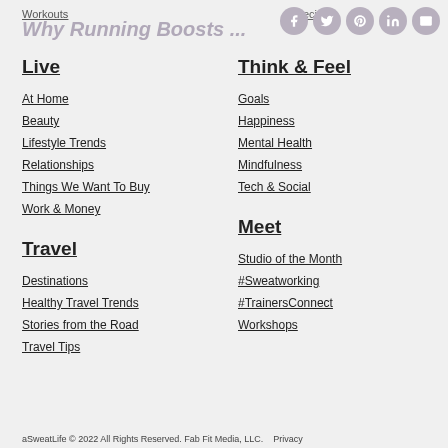Workouts
Why Running Boosts ...
Recipes
Live
At Home
Beauty
Lifestyle Trends
Relationships
Things We Want To Buy
Work & Money
Think & Feel
Goals
Happiness
Mental Health
Mindfulness
Tech & Social
Travel
Destinations
Healthy Travel Trends
Stories from the Road
Travel Tips
Meet
Studio of the Month
#Sweatworking
#TrainersConnect
Workshops
aSweatLife © 2022 All Rights Reserved. Fab Fit Media, LLC.    Privacy